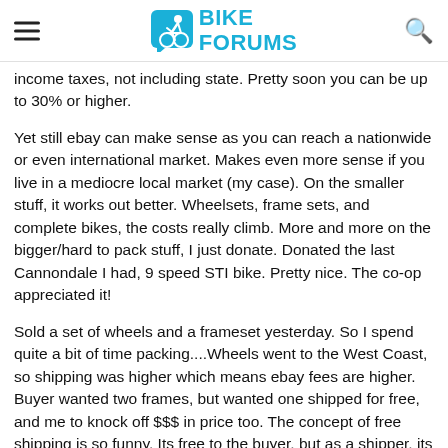BIKE FORUMS
income taxes, not including state. Pretty soon you can be up to 30% or higher.

Yet still ebay can make sense as you can reach a nationwide or even international market. Makes even more sense if you live in a mediocre local market (my case). On the smaller stuff, it works out better. Wheelsets, frame sets, and complete bikes, the costs really climb. More and more on the bigger/hard to pack stuff, I just donate. Donated the last Cannondale I had, 9 speed STI bike. Pretty nice. The co-op appreciated it!

Sold a set of wheels and a frameset yesterday. So I spend quite a bit of time packing....Wheels went to the West Coast, so shipping was higher which means ebay fees are higher. Buyer wanted two frames, but wanted one shipped for free, and me to knock off $$$ in price too. The concept of free shipping is so funny. Its free to the buyer, but as a shipper, its anything but free. I call it the Amazonization of America.